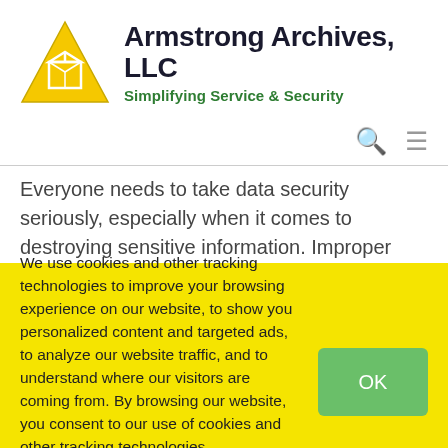[Figure (logo): Armstrong Archives, LLC logo with yellow triangle containing a white box outline and text 'Armstrong Archives, LLC' with tagline 'Simplifying Service & Security']
Everyone needs to take data security seriously, especially when it comes to destroying sensitive information. Improper document and data destruction are a common precursor to stolen information.
We use cookies and other tracking technologies to improve your browsing experience on our website, to show you personalized content and targeted ads, to analyze our website traffic, and to understand where our visitors are coming from. By browsing our website, you consent to our use of cookies and other tracking technologies.